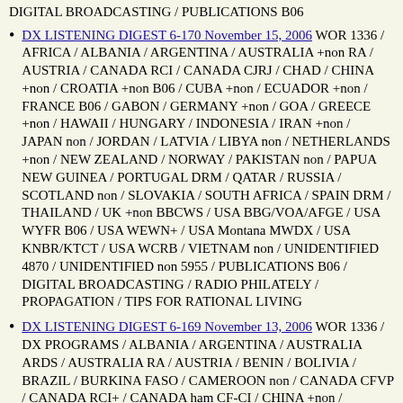DIGITAL BROADCASTING / PUBLICATIONS B06
DX LISTENING DIGEST 6-170 November 15, 2006 WOR 1336 / AFRICA / ALBANIA / ARGENTINA / AUSTRALIA +non RA / AUSTRIA / CANADA RCI / CANADA CJRJ / CHAD / CHINA +non / CROATIA +non B06 / CUBA +non / ECUADOR +non / FRANCE B06 / GABON / GERMANY +non / GOA / GREECE +non / HAWAII / HUNGARY / INDONESIA / IRAN +non / JAPAN non / JORDAN / LATVIA / LIBYA non / NETHERLANDS +non / NEW ZEALAND / NORWAY / PAKISTAN non / PAPUA NEW GUINEA / PORTUGAL DRM / QATAR / RUSSIA / SCOTLAND non / SLOVAKIA / SOUTH AFRICA / SPAIN DRM / THAILAND / UK +non BBCWS / USA BBG/VOA/AFGE / USA WYFR B06 / USA WEWN+ / USA Montana MWDX / USA KNBR/KTCT / USA WCRB / VIETNAM non / UNIDENTIFIED 4870 / UNIDENTIFIED non 5955 / PUBLICATIONS B06 / DIGITAL BROADCASTING / RADIO PHILATELY / PROPAGATION / TIPS FOR RATIONAL LIVING
DX LISTENING DIGEST 6-169 November 13, 2006 WOR 1336 / DX PROGRAMS / ALBANIA / ARGENTINA / AUSTRALIA ARDS / AUSTRALIA RA / AUSTRIA / BENIN / BOLIVIA / BRAZIL / BURKINA FASO / CAMEROON non / CANADA CFVP / CANADA RCI+ / CANADA ham CF-CI / CHINA +non / COLOMBIA / CONGO DR non / CROATIA +non / CUBA +non / DJIBOUTI / ECUADOR / ERITREA / ETHIOPIA